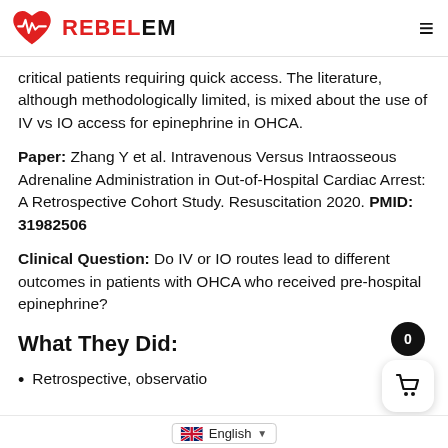REBELEM
critical patients requiring quick access. The literature, although methodologically limited, is mixed about the use of IV vs IO access for epinephrine in OHCA.
Paper: Zhang Y et al. Intravenous Versus Intraosseous Adrenaline Administration in Out-of-Hospital Cardiac Arrest: A Retrospective Cohort Study. Resuscitation 2020. PMID: 31982506
Clinical Question: Do IV or IO routes lead to different outcomes in patients with OHCA who received pre-hospital epinephrine?
What They Did:
Retrospective, observation…